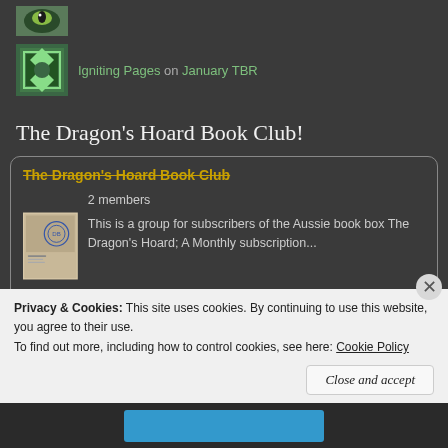[Figure (photo): Small avatar thumbnail at top, partially cropped green eye/animal image]
Igniting Pages on January TBR
The Dragon's Hoard Book Club!
The Dragon's Hoard Book Club
2 members
This is a group for subscribers of the Aussie book box The Dragon's Hoard; A Monthly subscription...
Books we've read
Privacy & Cookies: This site uses cookies. By continuing to use this website, you agree to their use.
To find out more, including how to control cookies, see here: Cookie Policy
Close and accept